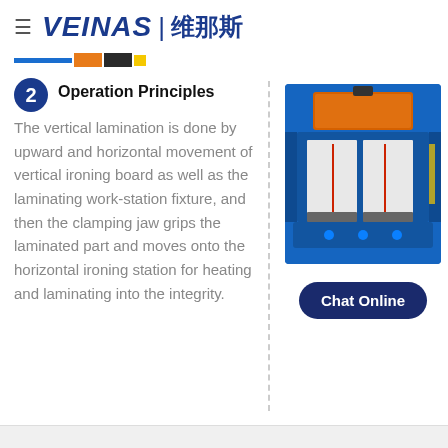VEINAS | 维那斯
2 Operation Principles
The vertical lamination is done by upward and horizontal movement of vertical ironing board as well as the laminating work-station fixture, and then the clamping jaw grips the laminated part and moves onto the horizontal ironing station for heating and laminating into the integrity.
[Figure (photo): Industrial laminating machine with blue frame, orange top unit, and white foam boards inside the clamping station]
Chat Online